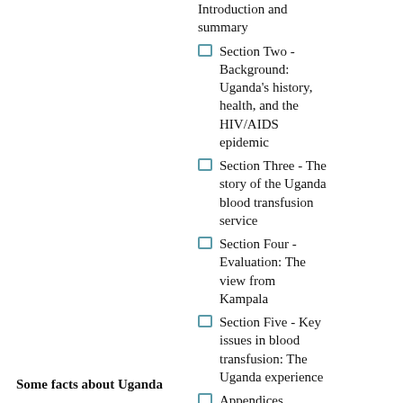Introduction and summary
Section Two - Background: Uganda's history, health, and the HIV/AIDS epidemic
Section Three - The story of the Uganda blood transfusion service
Section Four - Evaluation: The view from Kampala
Section Five - Key issues in blood transfusion: The Uganda experience
Appendices
Some facts about Uganda